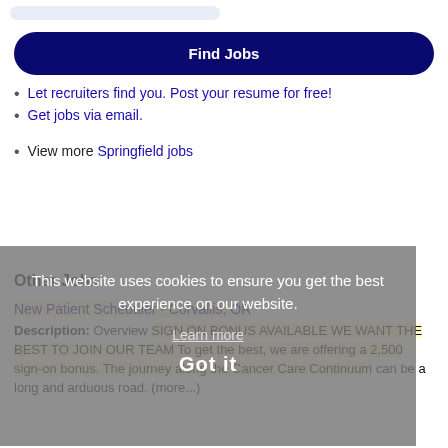[Figure (other): Light blue search bar / input area at top of page]
Find Jobs
Let recruiters find you. Post your resume for free!
Get jobs via email.
View more Springfield jobs
This website uses cookies to ensure you get the best experience on our website.
Learn more
Other Jobs
New Patient Scheduler - Corvallis, OR
Description: Overview SIGN ON BONUS AVAILABLE WE WANT THE BEST TO JOIN OUR TEAM To get the best, we are offering a 2,500 sign-on bonus. The journey along the Cancer Care Continuum can be a long and arduous road. (more...)